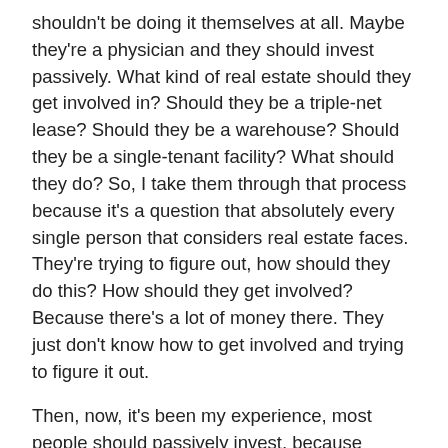shouldn't be doing it themselves at all. Maybe they're a physician and they should invest passively. What kind of real estate should they get involved in? Should they be a triple-net lease? Should they be a warehouse? Should they be a single-tenant facility? What should they do? So, I take them through that process because it's a question that absolutely every single person that considers real estate faces. They're trying to figure out, how should they do this? How should they get involved? Because there's a lot of money there. They just don't know how to get involved and trying to figure it out.
Then, now, it's been my experience, most people should passively invest, because they've got legitimate really good full-time jobs, right? I've had physicians want to throw in the towel to come into real estate. I'm like, "Timeout. Don't do that. Are you kidding me? No, stop. It's not as funny as you think." But they should pass them invest. So, I think most people should passively invest. So, then, we get to